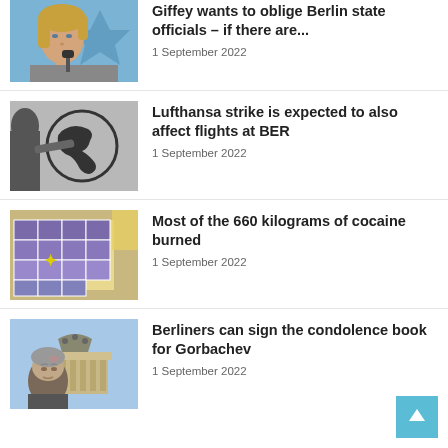[Figure (photo): Woman with blonde hair speaking at microphone in front of blue background]
Giffey wants to oblige Berlin state officials – if there are...
1 September 2022
[Figure (photo): Lufthansa crane logo on aircraft tail]
Lufthansa strike is expected to also affect flights at BER
1 September 2022
[Figure (photo): Stacked boxes of cocaine in warehouse]
Most of the 660 kilograms of cocaine burned
1 September 2022
[Figure (photo): Elderly man in front of Brandenburg Gate]
Berliners can sign the condolence book for Gorbachev
1 September 2022